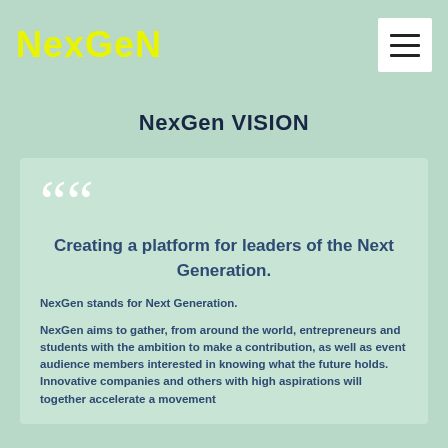[Figure (logo): NexGen logo in yellow bold text on mint green background, with hamburger menu icon in white box on the right]
NexGen VISION
““ Creating a platform for leaders of the Next Generation.
NexGen stands for Next Generation.
NexGen aims to gather, from around the world, entrepreneurs and students with the ambition to make a contribution, as well as event audience members interested in knowing what the future holds. Innovative companies and others with high aspirations will together accelerate a movement